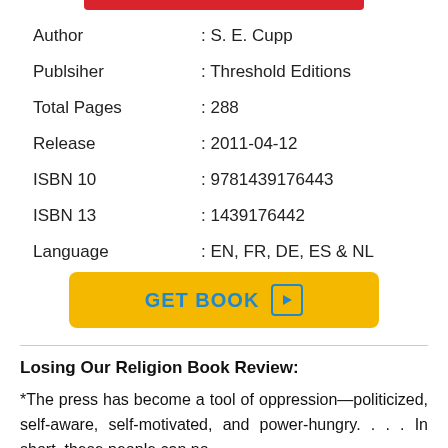| Author | : S. E. Cupp |
| Publsiher | : Threshold Editions |
| Total Pages | : 288 |
| Release | : 2011-04-12 |
| ISBN 10 | : 9781439176443 |
| ISBN 13 | : 1439176442 |
| Language | : EN, FR, DE, ES & NL |
GET BOOK
Losing Our Religion Book Review:
*The press has become a tool of oppression—politicized, self-aware, self-motivated, and power-hungry. . . . In short, these people can no